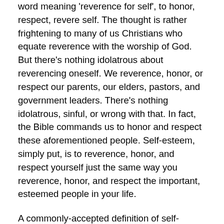word meaning 'reverence for self', to honor, respect, revere self. The thought is rather frightening to many of us Christians who equate reverence with the worship of God. But there's nothing idolatrous about reverencing oneself. We reverence, honor, or respect our parents, our elders, pastors, and government leaders. There's nothing idolatrous, sinful, or wrong with that. In fact, the Bible commands us to honor and respect these aforementioned people. Self-esteem, simply put, is to reverence, honor, and respect yourself just the same way you reverence, honor, and respect the important, esteemed people in your life.
A commonly-accepted definition of self-esteem is pride in oneself; self-respect; a sense of one's dignity or worth. Frankly, the definition doesn't do a whole lot for me. There's a vagueness to it that leaves me still wondering